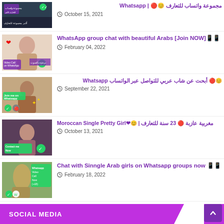[Figure (photo): Thumbnail image for WhatsApp group article 1 - dark background with Arabic text]
مجموعة واتساب للتعارف 😊🔴 | Whatsapp
October 15, 2021
[Figure (photo): Thumbnail image of woman with WhatsApp logo]
WhatsApp group chat with beautiful Arabs [Join NOW]📱📱
February 04, 2022
[Figure (photo): Thumbnail image with Join me on WhatsApp text]
😊🔴 أبحث عن شاب عربي للتواصل عبر الواتساب Whatsapp
September 22, 2021
[Figure (photo): Thumbnail image of Moroccan girl with Contact me now text]
Moroccan Single Pretty Girl❤😊 | مغربية عازبة 🔴 23 سنة للتعارف
October 13, 2021
[Figure (photo): Thumbnail image of Arab girl in yellow with WhatsApp call info]
Chat with Sinngle Arab girls on Whatsapp groups now 📱📱
February 18, 2022
SOCIAL MEDIA